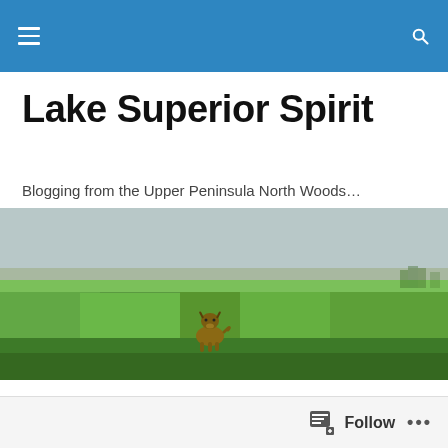Navigation bar with hamburger menu and search icon
Lake Superior Spirit
Blogging from the Upper Peninsula North Woods…
[Figure (photo): A dog sitting in a wide green field under a grey sky]
TAGGED WITH COMMUNICATION
Learning how to be friends
Follow